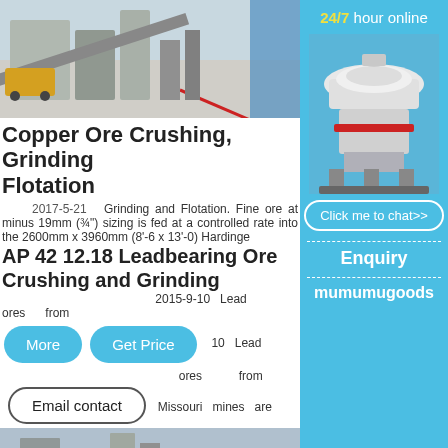[Figure (photo): Aerial view of a copper ore crushing and grinding plant with machinery and equipment]
Copper Ore Crushing, Grinding Flotation
2017-5-21   Grinding and Flotation. Fine ore at minus 19mm (¾") sizing is fed at a controlled rate into the 2600mm x 3960mm (8'-6 x 13'-0) Hardinge
AP 42 12.18 Leadbearing Ore Crushing and Grinding
2015-9-10   Lead ores from Missouri mines are
[Figure (photo): Mining/crushing plant equipment at bottom of page]
[Figure (photo): Side panel: cone crusher machine with 24/7 hour online service, click me to chat button, Enquiry section, mumumugoods branding]